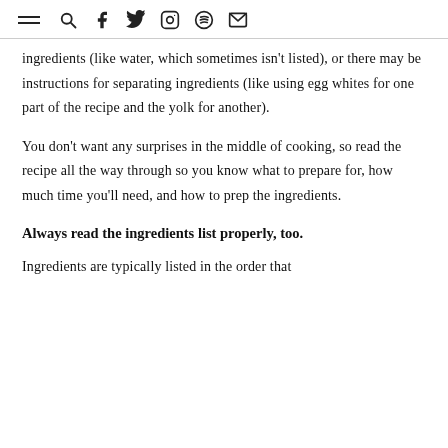≡ 🔍 f 𝕏 ⊙ ● ✉
ingredients (like water, which sometimes isn't listed), or there may be instructions for separating ingredients (like using egg whites for one part of the recipe and the yolk for another).
You don't want any surprises in the middle of cooking, so read the recipe all the way through so you know what to prepare for, how much time you'll need, and how to prep the ingredients.
Always read the ingredients list properly, too.
Ingredients are typically listed in the order that